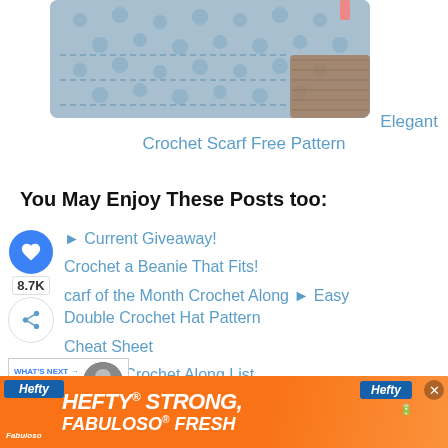[Figure (photo): Close-up photo of light blue textured crochet fabric on a wooden surface]
Elegant Crochet Scarf Free Pattern
You May Enjoy These Posts too:
► Current Giveaway!
Crochet a Beanie That Fits!
Scarf of the Month Crochet Along ► Easy Double Crochet Hat Pattern
Cheat Sheet
► 2022 Crochet Along List
[Figure (screenshot): Hefty Strong, Fabuloso Fresh advertisement banner in orange]
[Figure (infographic): What's Next panel showing Grandma's Textured La... with thumbnail]